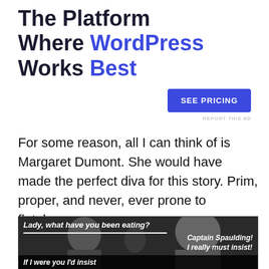The Platform Where WordPress Works Best
[Figure (other): SEE PRICING button — a blue rectangular call-to-action button with white uppercase text]
REPORT THIS AD
For some reason, all I can think of is Margaret Dumont. She would have made the perfect diva for this story. Prim, proper, and never, ever prone to flatulence.
[Figure (photo): Black and white movie still showing two people facing each other with subtitles: top caption 'Lady, what have you been eating?', right caption 'Captain Spaulding! I really must insist!', bottom caption 'If I were you I'd insist']